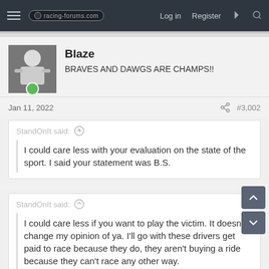racing-forums.com  Log in  Register
Blaze
BRAVES AND DAWGS ARE CHAMPS!!
Jan 11, 2022  #3,002
StandOnIt said: ↑
I could care less with your evaluation on the state of the sport. I said your statement was B.S.
StandOnIt said: ↑
I could care less if you want to play the victim. It doesn't change my opinion of ya. I'll go with these drivers get paid to race because they do, they aren't buying a ride because they can't race any other way.
Come on man lol. It's couldn't care less. Least use the right phrase buddy.